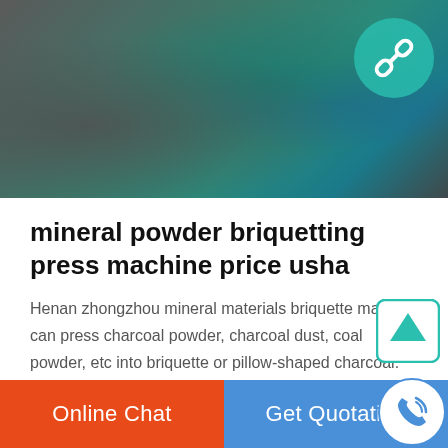[Figure (photo): Industrial machinery photo showing green/teal briquetting press machine equipment in a factory setting, with a teal circular link icon overlay in the top right corner]
mineral powder briquetting press machine price usha
Henan zhongzhou mineral materials briquette machine can press charcoal powder, charcoal dust, coal powder, etc into briquette or pillow-shaped charcoal. 5.Operating Principle of mineral materials briquette machine: The type of mineral materials briquette machine have two larger rollers in a fixed position in the frame and the other two smaller rollers are moveable. mineral materials briquette ...
Online Chat   Get Quotation